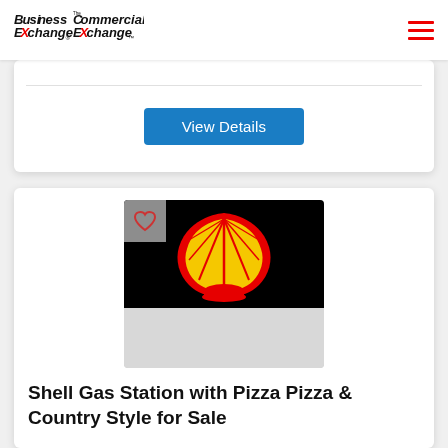Business Exchange / The Commercial Exchange
[Figure (logo): Business Exchange and The Commercial Exchange logos with hamburger menu icon]
View Details
[Figure (logo): Shell Gas Station logo on black background with gray lower section and heart/favorite icon overlay]
Shell Gas Station with Pizza Pizza & Country Style for Sale